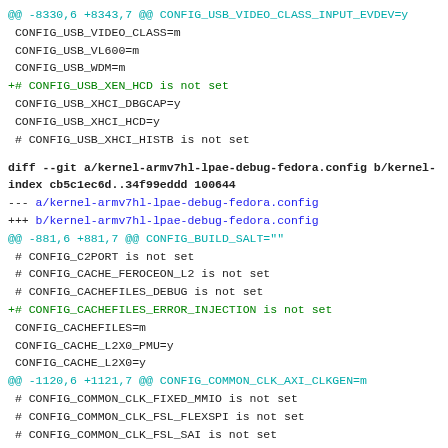@@ -8330,6 +8343,7 @@ CONFIG_USB_VIDEO_CLASS_INPUT_EVDEV=y
 CONFIG_USB_VIDEO_CLASS=m
 CONFIG_USB_VL600=m
 CONFIG_USB_WDM=m
+# CONFIG_USB_XEN_HCD is not set
 CONFIG_USB_XHCI_DBGCAP=y
 CONFIG_USB_XHCI_HCD=y
 # CONFIG_USB_XHCI_HISTB is not set

diff --git a/kernel-armv7hl-lpae-debug-fedora.config b/kernel-armv7hl-lpae-debug-fedora.config
index cb5c1ec6d..34f99eddd 100644
--- a/kernel-armv7hl-lpae-debug-fedora.config
+++ b/kernel-armv7hl-lpae-debug-fedora.config
@@ -881,6 +881,7 @@ CONFIG_BUILD_SALT=""
 # CONFIG_C2PORT is not set
 # CONFIG_CACHE_FEROCEON_L2 is not set
 # CONFIG_CACHEFILES_DEBUG is not set
+# CONFIG_CACHEFILES_ERROR_INJECTION is not set
 CONFIG_CACHEFILES=m
 CONFIG_CACHE_L2X0_PMU=y
 CONFIG_CACHE_L2X0=y
@@ -1120,6 +1121,7 @@ CONFIG_COMMON_CLK_AXI_CLKGEN=m
 # CONFIG_COMMON_CLK_FIXED_MMIO is not set
 # CONFIG_COMMON_CLK_FSL_FLEXSPI is not set
 # CONFIG_COMMON_CLK_FSL_SAI is not set